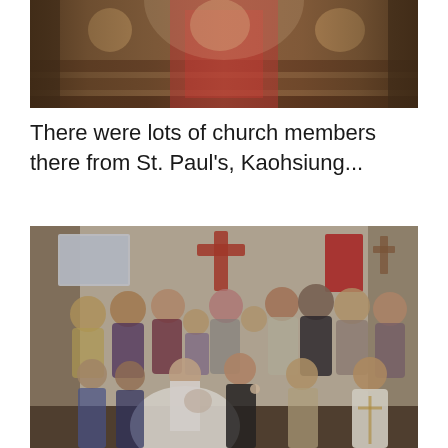[Figure (photo): Partial view of a church interior with wooden pews and people, showing a red-clothed area in the center — the top portion of a wedding ceremony photo]
There were lots of church members there from St. Paul's, Kaohsiung...
[Figure (photo): Group photo inside a church of approximately 20 people including a bride in a white ball gown holding a bouquet and a groom in a dark suit, surrounded by family and church members including a priest in liturgical vestments, with a red cross visible on the wall behind them]